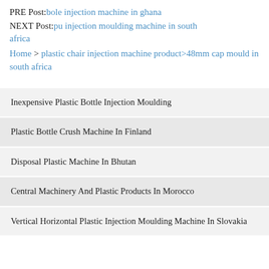PRE Post: bole injection machine in ghana
NEXT Post: pu injection moulding machine in south africa
Home > plastic chair injection machine product>48mm cap mould in south africa
Inexpensive Plastic Bottle Injection Moulding
Plastic Bottle Crush Machine In Finland
Disposal Plastic Machine In Bhutan
Central Machinery And Plastic Products In Morocco
Vertical Horizontal Plastic Injection Moulding Machine In Slovakia